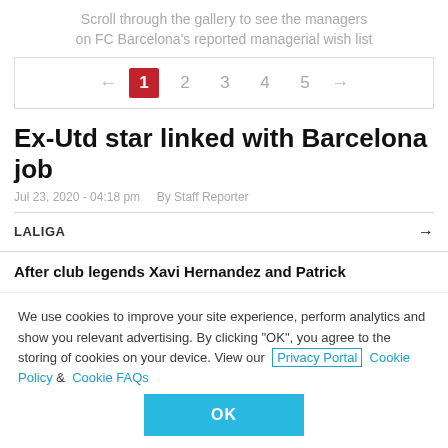Scroll through the gallery to see the managers on FC Barcelona's reported managerial wish list
[Figure (other): Gallery pagination navigation showing pages 1 (active, red) through 5 with left and right arrows]
Ex-Utd star linked with Barcelona job
Jul 23, 2020 - 04:18 pm   By Staff Reporter
LALIGA →
After club legends Xavi Hernandez and Patrick
We use cookies to improve your site experience, perform analytics and show you relevant advertising. By clicking "OK", you agree to the storing of cookies on your device. View our Privacy Portal  Cookie Policy &  Cookie FAQs